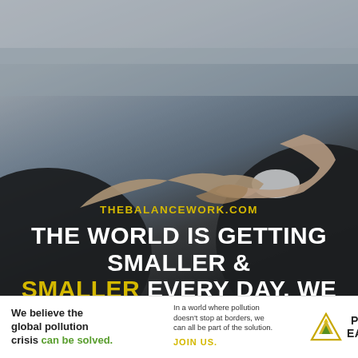[Figure (photo): Two people in dark suits shaking hands against a blurred indoor background with light tones. The word THEBALANCEWORK.COM appears in gold text over the image, followed by a bold white headline about global interdependence.]
THEBALANCEWORK.COM
THE WORLD IS GETTING SMALLER & SMALLER EVERY DAY. WE CANNOT FIND OURSELVES DEPENDENT ON SOMEBODY UNTRUSTWORTHY
We believe the global pollution crisis can be solved.
In a world where pollution doesn't stop at borders, we can all be part of the solution. JOIN US.
[Figure (logo): Pure Earth logo: triangular icon with diamond/arrow shapes in gold and green, with text PURE EARTH in bold black.]